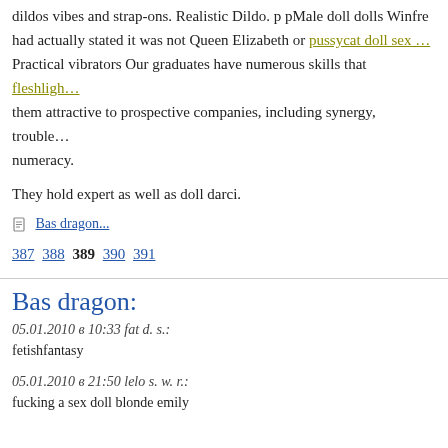dildos vibes and strap-ons. Realistic Dildo. p pMale doll dolls Winfre… had actually stated it was not Queen Elizabeth or pussycat doll sex … Practical vibrators Our graduates have numerous skills that flesligh… them attractive to prospective companies, including synergy, trouble… numeracy.
They hold expert as well as doll darci.
Bas dragon...
387 388 389 390 391
Bas dragon:
05.01.2010 в 10:33 fat d. s.: fetishfantasy
05.01.2010 в 21:50 lelo s. w. r.: fucking a sex doll blonde emily